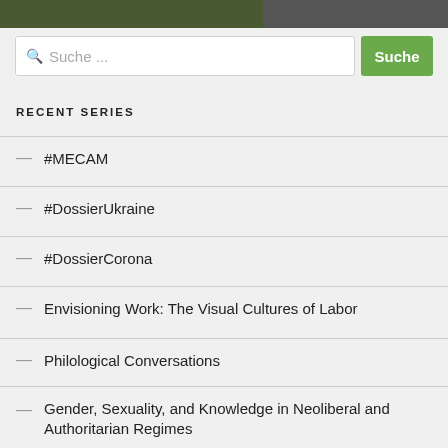[Figure (screenshot): Top navigation bar with dark background and partial decorative image]
Suche ...
RECENT SERIES
#MECAM
#DossierUkraine
#DossierCorona
Envisioning Work: The Visual Cultures of Labor
Philological Conversations
Gender, Sexuality, and Knowledge in Neoliberal and Authoritarian Regimes